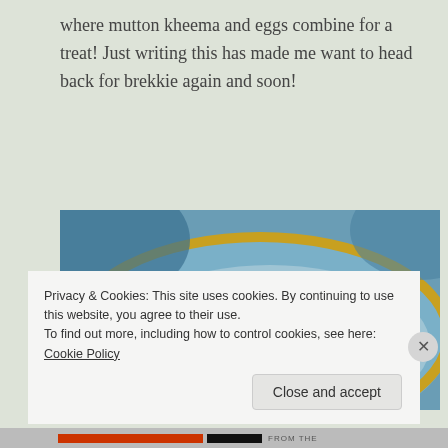where mutton kheema and eggs combine for a treat! Just writing this has made me want to head back for brekkie again and soon!
[Figure (photo): A plate of food with a small white bowl containing what appears to be eggs with herbs, alongside vegetables including tomatoes and green beans, on a decorative blue and gold rimmed plate.]
Privacy & Cookies: This site uses cookies. By continuing to use this website, you agree to their use.
To find out more, including how to control cookies, see here: Cookie Policy
Close and accept